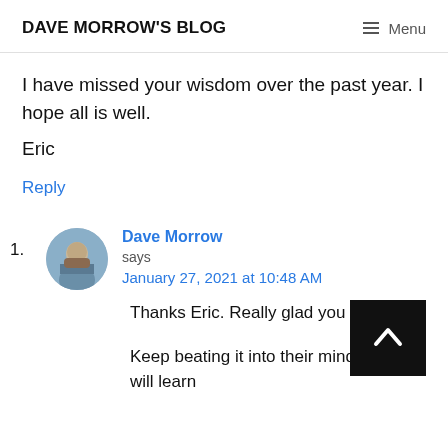DAVE MORROW'S BLOG   Menu
I have missed your wisdom over the past year. I hope all is well.
Eric
Reply
1. Dave Morrow says January 27, 2021 at 10:48 AM
Thanks Eric. Really glad you liked it.
Keep beating it into their minds. Some will learn